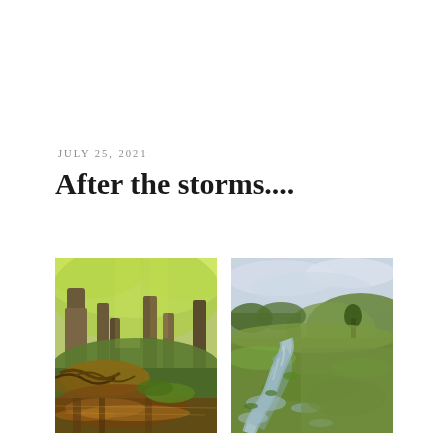JULY 25, 2021
After the storms....
[Figure (photo): A lush green forest with mossy trees and a dark reflective pool or stream in the foreground, with exposed tree roots and warm amber water reflections.]
[Figure (photo): An open moorland landscape with a winding shallow stream or flooded path cutting through green grass, with rolling hills and a grey overcast sky in the background.]